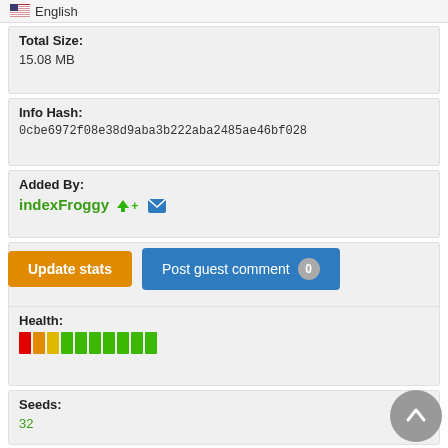English
Total Size:
15.08 MB
Info Hash:
0cbe6972f08e38d9aba3b222aba2485ae46bf028
Added By:
indexFroggy
Added:
23-06-2022 15:50
Views:
65
Update stats
Post guest comment 0
Health:
[Figure (infographic): Health bar indicator with colored vertical bars: 1 red, 2 yellow/orange, 7 green]
Seeds:
32